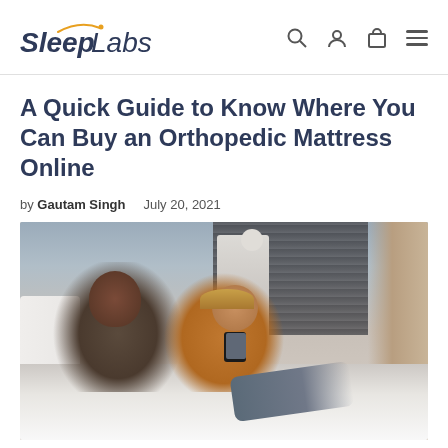SleepLabs [navigation icons: search, user, cart, menu]
A Quick Guide to Know Where You Can Buy an Orthopedic Mattress Online
by Gautam Singh   July 20, 2021
[Figure (photo): A couple relaxing on a bed. A woman in a floral outfit and a man wearing a hat and orange shirt looking at a smartphone together. White bedding, window blinds and curtains in the background.]